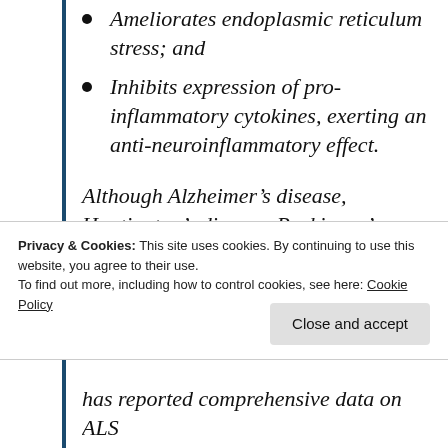Ameliorates endoplasmic reticulum stress; and
Inhibits expression of pro-inflammatory cytokines, exerting an anti-neuroinflammatory effect.
Although Alzheimer’s disease, Huntington’s disease, Parkinson’s disease, amyotrophic lateral sclerosis (ALS), and cerebral ischemia have different disease progressions, they share similar pathways
Privacy & Cookies: This site uses cookies. By continuing to use this website, you agree to their use.
To find out more, including how to control cookies, see here: Cookie Policy
has reported comprehensive data on ALS